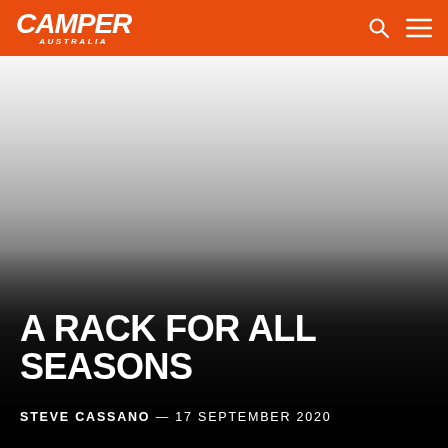CAMPER AUSTRALIA
[Figure (photo): Hero image with gradient from white/light grey at top to dark black at bottom, used as background for article title overlay]
A RACK FOR ALL SEASONS
STEVE CASSANO — 17 SEPTEMBER 2020